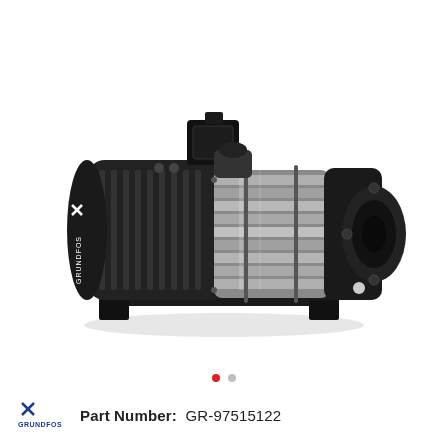[Figure (photo): Grundfos horizontal multistage centrifugal pump with black motor housing on the left and stainless steel pump body on the right, mounted on a base plate. The pump discharge flange is visible on the far right.]
Part Number:  GR-97515122